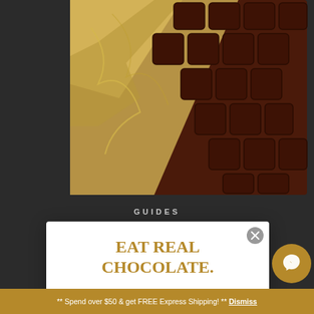[Figure (photo): Close-up photo of a dark chocolate bar partially unwrapped from gold/silver foil, showing segmented chocolate squares on a dark background]
GUIDES
EAT REAL CHOCOLATE.
Enter your email & get a FREE MINI Chocolate Bar with your first order!
[Figure (screenshot): Email address input field with placeholder text 'Email address']
GET FREE MINI
** Spend over $50 & get FREE Express Shipping! ** Dismiss